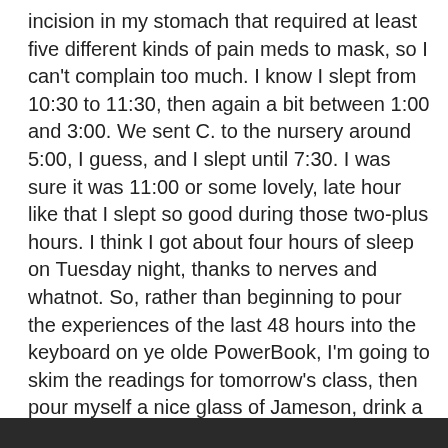incision in my stomach that required at least five different kinds of pain meds to mask, so I can't complain too much. I know I slept from 10:30 to 11:30, then again a bit between 1:00 and 3:00. We sent C. to the nursery around 5:00, I guess, and I slept until 7:30. I was sure it was 11:00 or some lovely, late hour like that I slept so good during those two-plus hours. I think I got about four hours of sleep on Tuesday night, thanks to nerves and whatnot. So, rather than beginning to pour the experiences of the last 48 hours into the keyboard on ye olde PowerBook, I'm going to skim the readings for tomorrow's class, then pour myself a nice glass of Jameson, drink a silent toast to my latest, weeest Irish lass, and attempt to get some sleep so I'm awake for my drive to B-town tomorrow. I'll start getting you caught up on events over the weekend.